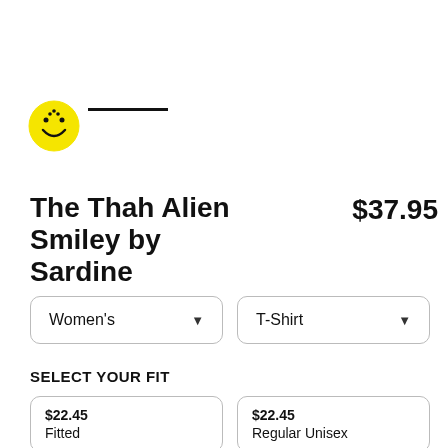[Figure (logo): Yellow smiley face circle with Arabic letter thah character as the face design, with a black horizontal line to its right]
The Thah Alien Smiley by Sardine
$37.95
Women's
T-Shirt
SELECT YOUR FIT
$22.45
Fitted
$22.45
Regular Unisex